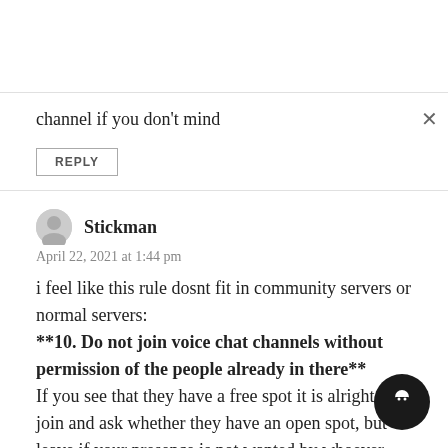channel if you don't mind
REPLY
Stickman
April 22, 2021 at 1:44 pm
i feel like this rule dosnt fit in community servers or normal servers:
**10. Do not join voice chat channels without permission of the people already in there**
If you see that they have a free spot it is alright to join and ask whether they have an open spot, but leave if your presence is not wanted by whoever